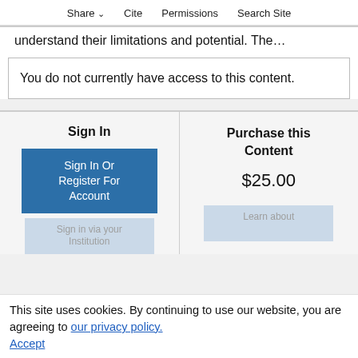Share  Cite  Permissions  Search Site
understand their limitations and potential. The…
You do not currently have access to this content.
Sign In
Purchase this Content
Sign In Or Register For Account
$25.00
This site uses cookies. By continuing to use our website, you are agreeing to our privacy policy. Accept